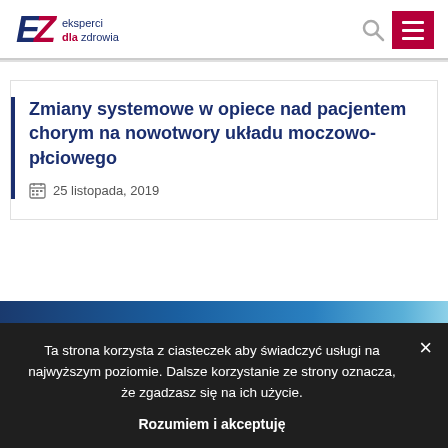EZ eksperci dla zdrowia
Zmiany systemowe w opiece nad pacjentem chorym na nowotwory układu moczowo-płciowego
25 listopada, 2019
Ta strona korzysta z ciasteczek aby świadczyć usługi na najwyższym poziomie. Dalsze korzystanie ze strony oznacza, że zgadzasz się na ich użycie.
Rozumiem i akceptuję